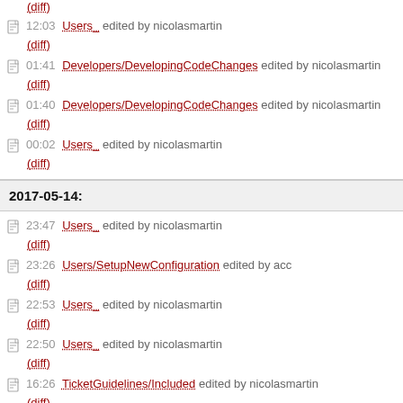(diff)
12:03 Users_ edited by nicolasmartin (diff)
01:41 Developers/DevelopingCodeChanges edited by nicolasmartin (diff)
01:40 Developers/DevelopingCodeChanges edited by nicolasmartin (diff)
00:02 Users_ edited by nicolasmartin (diff)
2017-05-14:
23:47 Users_ edited by nicolasmartin (diff)
23:26 Users/SetupNewConfiguration edited by acc (diff)
22:53 Users_ edited by nicolasmartin (diff)
22:50 Users_ edited by nicolasmartin (diff)
16:26 TicketGuidelines/Included edited by nicolasmartin (diff)